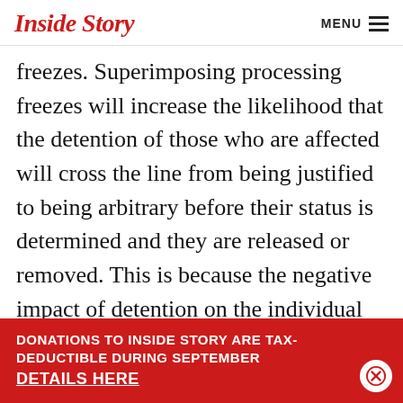Inside Story  MENU
freezes. Superimposing processing freezes will increase the likelihood that the detention of those who are affected will cross the line from being justified to being arbitrary before their status is determined and they are released or removed. This is because the negative impact of detention on the individual tends to increase as the duration of detention becomes longer the person detained finds it difficult it becomes to defend detention as a proportionate means of achieving any
DONATIONS TO INSIDE STORY ARE TAX-DEDUCTIBLE DURING SEPTEMBER
DETAILS HERE